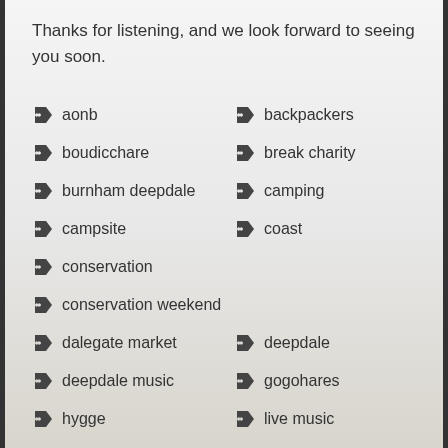Thanks for listening, and we look forward to seeing you soon.
aonb
backpackers
boudicchare
break charity
burnham deepdale
camping
campsite
coast
conservation
conservation weekend
dalegate market
deepdale
deepdale music
gogohares
hygge
live music
margins walking and glamping